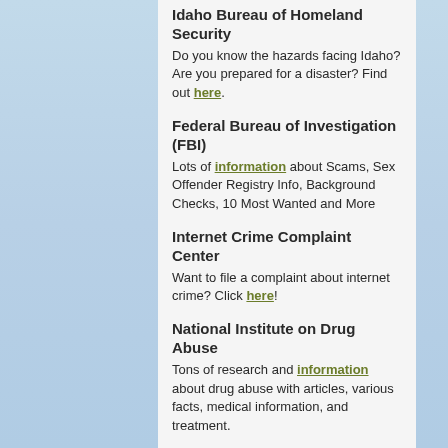Idaho Bureau of Homeland Security
Do you know the hazards facing Idaho? Are you prepared for a disaster? Find out here.
Federal Bureau of Investigation (FBI)
Lots of information about Scams, Sex Offender Registry Info, Background Checks, 10 Most Wanted and More
Internet Crime Complaint Center
Want to file a complaint about internet crime? Click here!
National Institute on Drug Abuse
Tons of research and information about drug abuse with articles, various facts, medical information, and treatment.